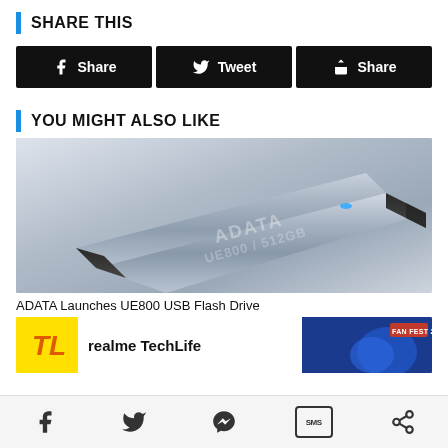SHARE THIS
Share | Tweet | Share
YOU MIGHT ALSO LIKE
[Figure (photo): ADATA UE800 512GB USB flash drive, silver brushed metal finish with blue LED indicator]
ADATA Launches UE800 USB Flash Drive
[Figure (screenshot): realme TechLife advertisement banner with Fan Fest 2022 badge]
Social share icons: Facebook, Twitter, Messenger, SMS, Share